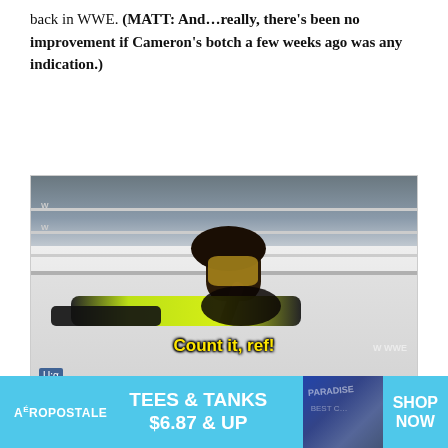back in WWE. (MATT: And…really, there's been no improvement if Cameron's botch a few weeks ago was any indication.)
[Figure (photo): WWE wrestling match screenshot showing one female wrestler pinning another to the mat. Yellow subtitle text reads 'Count it, ref!' USA Network logo visible in bottom left corner.]
(MATT: I've got nothing more to add here.)
[Figure (other): Aéropostale advertisement banner. Cyan/blue background with text 'TEES & TANKS $6.87 & UP' and 'SHOP NOW' on right side.]